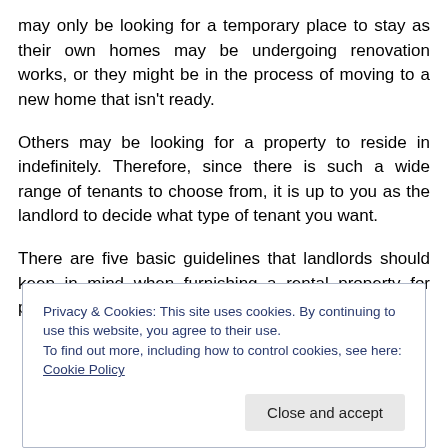may only be looking for a temporary place to stay as their own homes may be undergoing renovation works, or they might be in the process of moving to a new home that isn't ready.

Others may be looking for a property to reside in indefinitely. Therefore, since there is such a wide range of tenants to choose from, it is up to you as the landlord to decide what type of tenant you want.

There are five basic guidelines that landlords should keep in mind when furnishing a rental property for prospective
Privacy & Cookies: This site uses cookies. By continuing to use this website, you agree to their use.
To find out more, including how to control cookies, see here: Cookie Policy